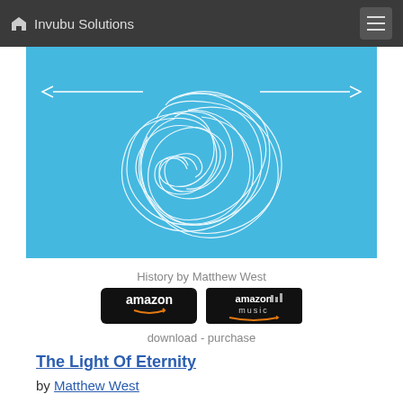Invubu Solutions
[Figure (illustration): Album artwork for History by Matthew West — a light blue background with a white tangled/scribbled circular line drawing, with arrows pointing left and right]
History by Matthew West
[Figure (logo): Amazon buy button (black rounded rectangle with amazon logo and orange smile arrow)]
[Figure (logo): Amazon Music buy button (black rounded rectangle with amazon music logo)]
download - purchase
The Light Of Eternity
by Matthew West